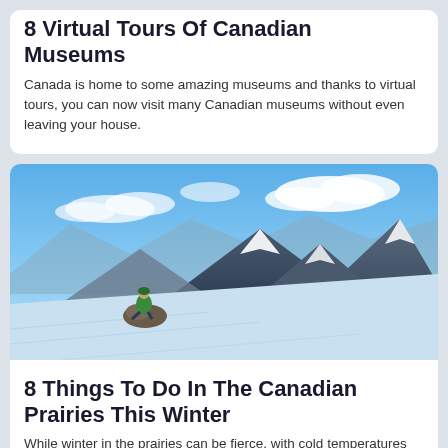8 Virtual Tours Of Canadian Museums
Canada is home to some amazing museums and thanks to virtual tours, you can now visit many Canadian museums without even leaving your house.
[Figure (photo): A person in a green jacket sitting on a rocky outcrop on a snowy mountain slope, with dramatic snow-covered mountain peaks and blue sky with clouds in the background.]
8 Things To Do In The Canadian Prairies This Winter
While winter in the prairies can be fierce, with cold temperatures and frequent snow; these 8 activities show that winter doesn't have to ruin your trip